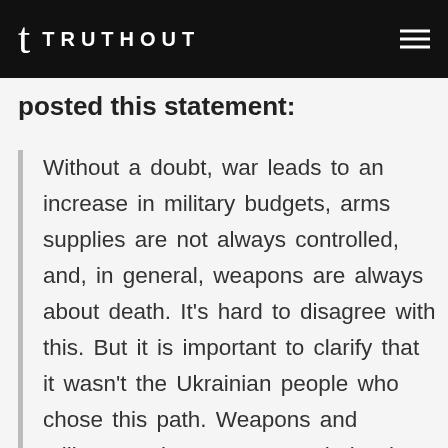t TRUTHOUT
posted this statement:
Without a doubt, war leads to an increase in military budgets, arms supplies are not always controlled, and, in general, weapons are always about death. It’s hard to disagree with this. But it is important to clarify that it wasn’t the Ukrainian people who chose this path. Weapons and military equipment are needed only to protect ourselves from the authoritarian